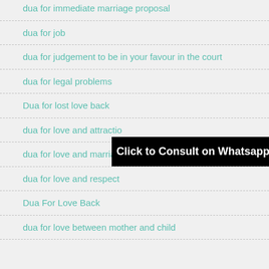dua for immediate marriage proposal
dua for job
dua for judgement to be in your favour in the court
dua for legal problems
Dua for lost love back
dua for love and attraction
dua for love and marriage
dua for love and respect
Dua For Love Back
dua for love between mother and child
Click to Consult on Whatsapp